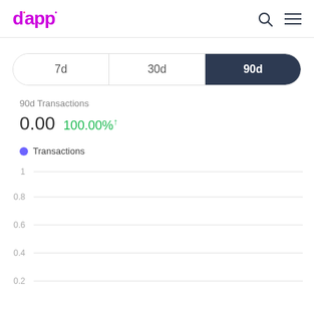dapp
[Figure (other): Time period selector with three options: 7d, 30d, 90d. The 90d button is highlighted/active with dark navy background.]
90d Transactions
0.00  100.00%↑
[Figure (line-chart): Line chart for Transactions over 90 days. Y-axis gridlines at 1, 0.8, 0.6, 0.4, 0.2. No data points visible.]